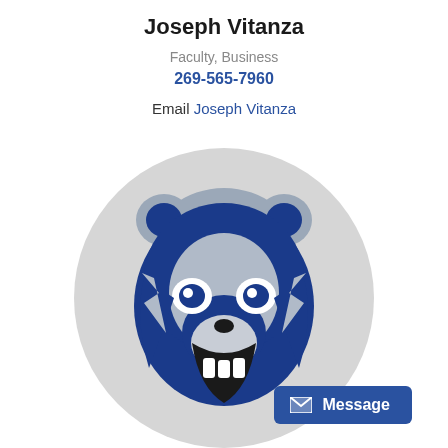Joseph Vitanza
Faculty, Business
269-565-7960
Email Joseph Vitanza
[Figure (logo): Gray circular background with a blue bear mascot logo (roaring bear head in blue and gray/silver colors)]
Message